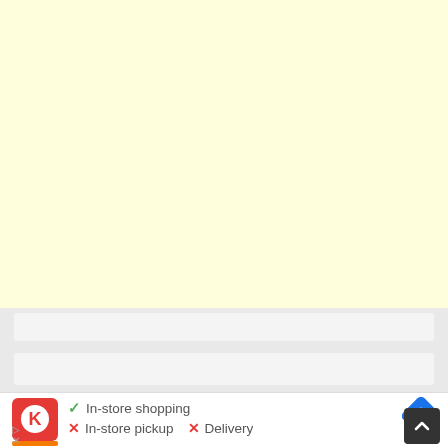[Figure (other): Light yellow blank advertisement area filling top portion of the page]
In-store shopping
In-store pickup  ×  Delivery
[Figure (logo): Circle K logo — red rounded square with white K letter and orange bar at bottom]
[Figure (other): Blue diamond turn-by-turn navigation arrow button]
[Figure (other): Dark scroll-to-top chevron button]